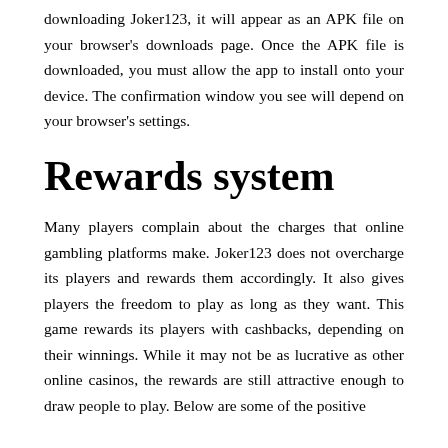downloading Joker123, it will appear as an APK file on your browser's downloads page. Once the APK file is downloaded, you must allow the app to install onto your device. The confirmation window you see will depend on your browser's settings.
Rewards system
Many players complain about the charges that online gambling platforms make. Joker123 does not overcharge its players and rewards them accordingly. It also gives players the freedom to play as long as they want. This game rewards its players with cashbacks, depending on their winnings. While it may not be as lucrative as other online casinos, the rewards are still attractive enough to draw people to play. Below are some of the positive